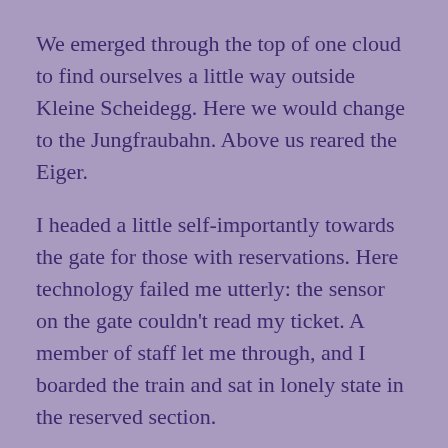We emerged through the top of one cloud to find ourselves a little way outside Kleine Scheidegg. Here we would change to the Jungfraubahn. Above us reared the Eiger.
I headed a little self-importantly towards the gate for those with reservations. Here technology failed me utterly: the sensor on the gate couldn't read my ticket. A member of staff let me through, and I boarded the train and sat in lonely state in the reserved section.
After a wait of a few minutes the train left the station and headed across the snowfield towards the mountain. It sat at the next stop for a while, and I alternated between squinting at my first glacier